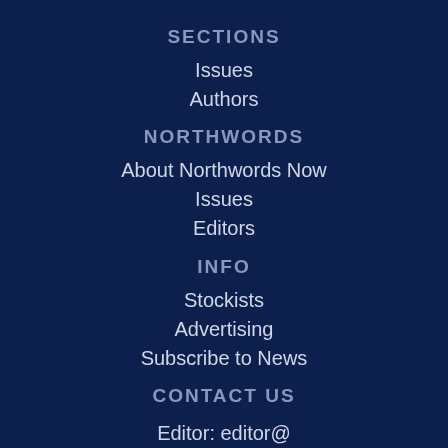SECTIONS
Issues
Authors
NORTHWORDS
About Northwords Now
Issues
Editors
INFO
Stockists
Advertising
Subscribe to News
CONTACT US
Editor: editor@